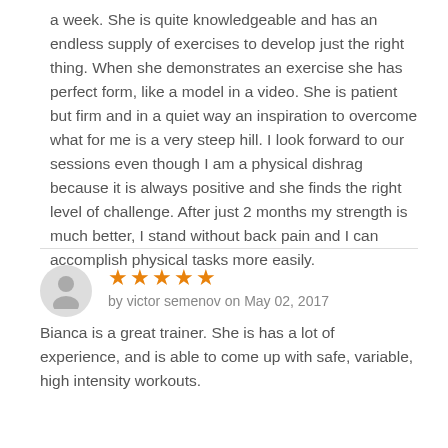a week. She is quite knowledgeable and has an endless supply of exercises to develop just the right thing. When she demonstrates an exercise she has perfect form, like a model in a video. She is patient but firm and in a quiet way an inspiration to overcome what for me is a very steep hill. I look forward to our sessions even though I am a physical dishrag because it is always positive and she finds the right level of challenge. After just 2 months my strength is much better, I stand without back pain and I can accomplish physical tasks more easily.
[Figure (other): Gray circular avatar icon with silhouette of a person]
★★★★★
by victor semenov on May 02, 2017
Bianca is a great trainer. She is has a lot of experience, and is able to come up with safe, variable, high intensity workouts.